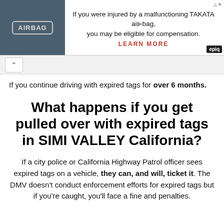[Figure (screenshot): Advertisement banner for TAKATA airbag injury compensation. Left side shows a dark image of an airbag with label AIRBAG. Right side has text: 'If you were injured by a malfunctioning TAKATA airbag, you may be eligible for compensation. LEARN MORE' with Epiq logo badge.]
[Figure (screenshot): Browser navigation bar showing an up/chevron arrow button on a light gray background.]
If you continue driving with expired tags for over 6 months.
What happens if you get pulled over with expired tags in SIMI VALLEY California?
If a city police or California Highway Patrol officer sees expired tags on a vehicle, they can, and will, ticket it. The DMV doesn't conduct enforcement efforts for expired tags but if you're caught, you'll face a fine and penalties.